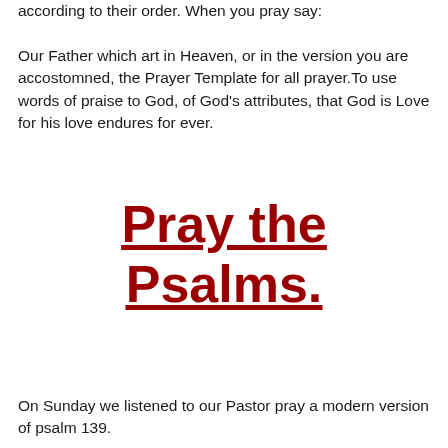according to their order. When you pray say: Our Father which art in Heaven, or in the version you are accostomned, the Prayer Template for all prayer.To use words of praise to God, of God's attributes, that God is Love for his love endures for ever.
Pray the Psalms.
On Sunday we listened to our Pastor pray a modern version of psalm 139.